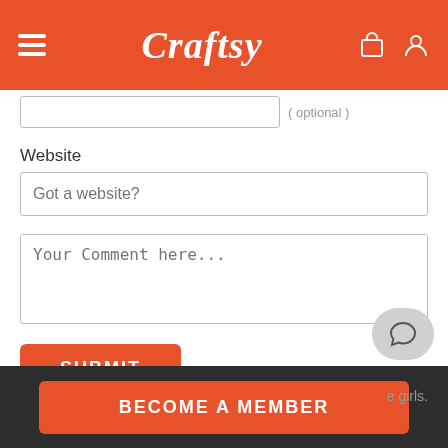Craftsy
Website
Got a website?
Your Comment here...
SUBMIT
33 Responses to “Off Our Needles Season 1”
Laura Nixon
BECOME A MEMBER